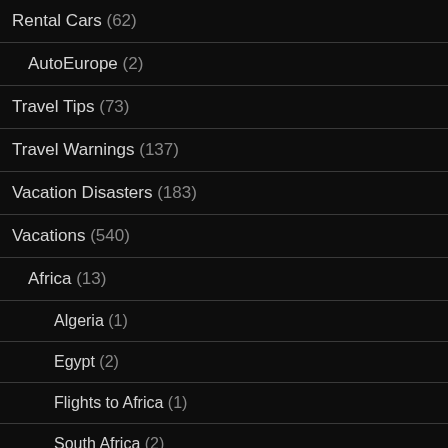Rental Cars (62)
AutoEurope (2)
Travel Tips (73)
Travel Warnings (137)
Vacation Disasters (183)
Vacations (540)
Africa (13)
Algeria (1)
Egypt (2)
Flights to Africa (1)
South Africa (2)
Asia (45)
Bangkok (1)